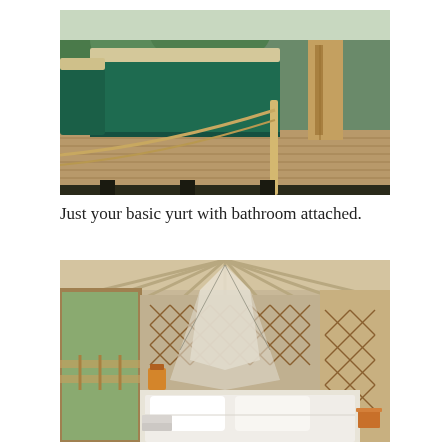[Figure (photo): Exterior photo of a green yurt with canvas walls sitting on a wooden deck platform, with a second yurt visible behind it. A wooden fence post and railing are in the foreground. Green vegetation in the background.]
Just your basic yurt with bathroom attached.
[Figure (photo): Interior photo of a yurt showing a bed with white bedding and pillows, a mosquito net draped above, lattice walls (khana) in traditional diamond pattern, and a view through an open door showing green trees outside. A small orange stool and lamp are visible.]